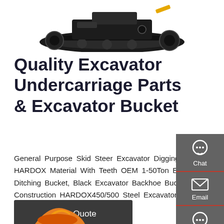[Figure (photo): Excavator undercarriage/tracked machine viewed from above on white background]
Quality Excavator Undercarriage Parts & Excavator Bucket
General Purpose Skid Steer Excavator Digging Bucket HARDOX Material With Teeth OEM 1-50Ton Excavator Ditching Bucket, Black Excavator Backhoe Buckets For Construction HARDOX450/500 Steel Excavator Digging Bucket Skid Steer OEM Certificate
[Figure (other): Sidebar contact widget with Chat, Email, and Contact icons on dark grey background]
Get a Quote
[Figure (photo): Partial view of orange/yellow excavator bucket at bottom of page]